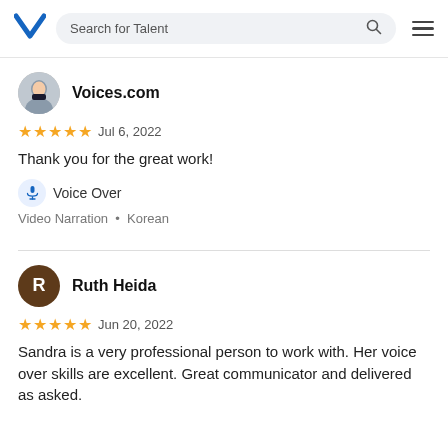Search for Talent
Voices.com
★★★★★ Jul 6, 2022
Thank you for the great work!
Voice Over
Video Narration • Korean
Ruth Heida
★★★★★ Jun 20, 2022
Sandra is a very professional person to work with. Her voice over skills are excellent. Great communicator and delivered as asked.